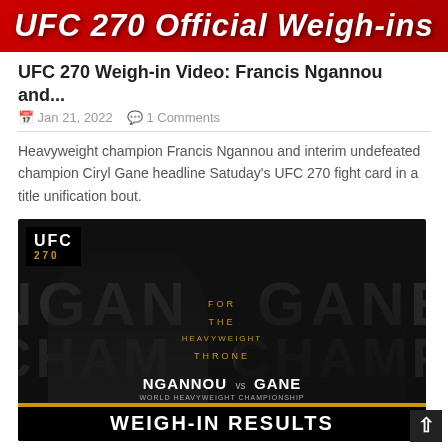[Figure (photo): UFC 270 Official Weigh-ins banner with red background and white italic bold text]
UFC 270 Weigh-in Video: Francis Ngannou and...
Jan 21, 2022   1 Comments
Heavyweight champion Francis Ngannou and interim undefeated champion Ciryl Gane headline Satuday's UFC 270 fight card in a title unification bout.
[Figure (photo): UFC 270 promotional image showing Ngannou vs Gane with Weigh-In Results bar at the bottom, black and white photo of two fighters, UFC 270 logo, gold text overlay reading FOR THE HEAVYWEIGHT THRONE, and gold-bordered WEIGH-IN RESULTS banner at the bottom]
UFC 270 Official Weigh-in Results and Video...